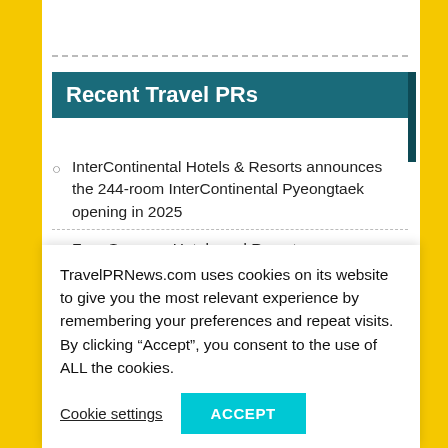Recent Travel PRs
InterContinental Hotels & Resorts announces the 244-room InterContinental Pyeongtaek opening in 2025
Four Seasons Hotels and Resorts announces plans for an extensive portfolio expansion in Egypt
Four Seasons Hotel Toronto names Carlos Calvo Rodríguez as new Senior Spa Director
The IATA World Cargo Symposium to focus on
TravelPRNews.com uses cookies on its website to give you the most relevant experience by remembering your preferences and repeat visits. By clicking “Accept”, you consent to the use of ALL the cookies.
Cookie settings   ACCEPT